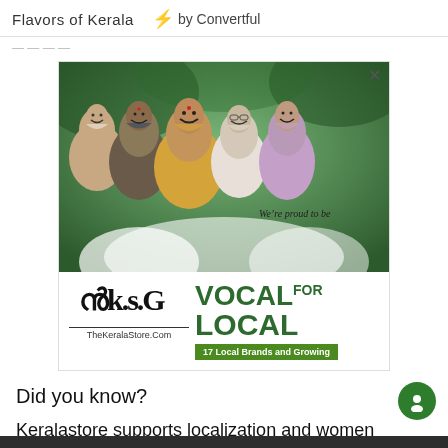Flavors of Kerala  ⚡ by Convertful
...
[Figure (photo): Advertisement image showing five smiling Indian women in colorful attire with green foliage background, TheKeralaStore.Com logo, and 'We're proud to be VOCAL For LOCAL — 17 Local Brands and Growing' text]
Did you know?
Keralastore supports localization and women empowerment